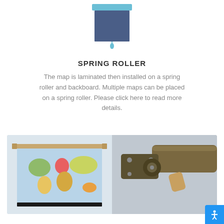[Figure (illustration): Spring roller icon: a blue-gray rectangular shade/roller with a light blue top bar and a small blue teardrop pull cord at the bottom center]
SPRING ROLLER
The map is laminated then installed on a spring roller and backboard. Multiple maps can be placed on a spring roller. Please click here to read more details.
[Figure (photo): Left half: photo of a world map mounted on a spring roller with wooden rails top and bottom. Right half: close-up photo of the spring roller hardware mechanism showing a metal bracket and roller end.]